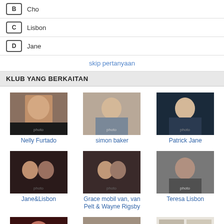B  Cho
C  Lisbon
D  Jane
skip pertanyaan
KLUB YANG BERKAITAN
[Figure (photo): Grid of 9 fan club images: Nelly Furtado, simon baker, Patrick Jane, Jane&Lisbon, Grace mobil van van Pelt & Wayne Rigsby, Teresa Lisbon, amanda righetti, Grace mobil van van Pelt, ncis and The Mentalist]
klub yang lain >>